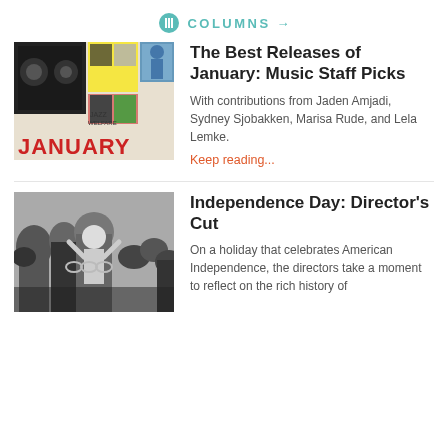COLUMNS →
The Best Releases of January: Music Staff Picks
With contributions from Jaden Amjadi, Sydney Sjobakken, Marisa Rude, and Lela Lemke.
Keep reading...
Independence Day: Director's Cut
On a holiday that celebrates American Independence, the directors take a moment to reflect on the rich history of